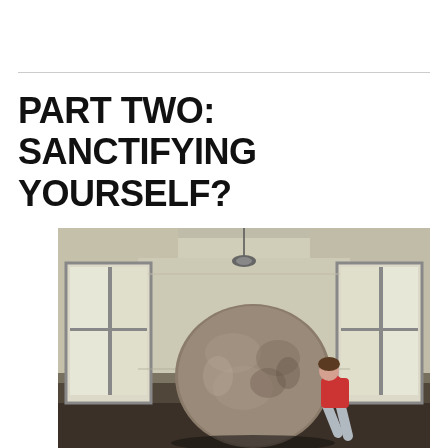PART TWO: SANCTIFYING YOURSELF?
[Figure (photo): Person in red shirt pushing a giant boulder inside a large empty room with windows on both sides and a light fixture on the ceiling.]